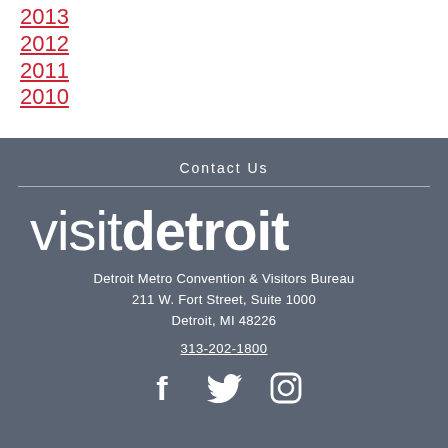2013
2012
2011
2010
Contact Us
[Figure (logo): visit detroit logo — 'visit' in light weight and 'detroit' in bold weight, white text on grey background]
Detroit Metro Convention & Visitors Bureau
211 W. Fort Street, Suite 1000
Detroit, MI 48226
313-202-1800
[Figure (infographic): Social media icons: Facebook, Twitter, Instagram — white icons on grey background]